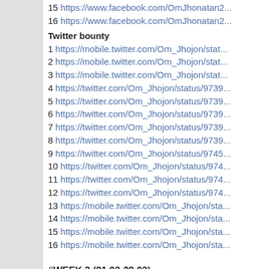15 https://www.facebook.com/OmJhonatan2...
16 https://www.facebook.com/OmJhonatan2...
Twitter bounty
1 https://mobile.twitter.com/Om_Jhojon/stat...
2 https://mobile.twitter.com/Om_Jhojon/stat...
3 https://mobile.twitter.com/Om_Jhojon/stat...
4 https://twitter.com/Om_Jhojon/status/9739...
5 https://twitter.com/Om_Jhojon/status/9739...
6 https://twitter.com/Om_Jhojon/status/9739...
7 https://twitter.com/Om_Jhojon/status/9739...
8 https://twitter.com/Om_Jhojon/status/9739...
9 https://twitter.com/Om_Jhojon/status/9745...
10 https://twitter.com/Om_Jhojon/status/974...
11 https://twitter.com/Om_Jhojon/status/974...
12 https://twitter.com/Om_Jhojon/status/974...
13 https://mobile.twitter.com/Om_Jhojon/sta...
14 https://mobile.twitter.com/Om_Jhojon/sta...
15 https://mobile.twitter.com/Om_Jhojon/sta...
16 https://mobile.twitter.com/Om_Jhojon/sta...
#WEEK 3 (21.03-28.03)
Facebook bounty
1 https://www.facebook.com/OmJhonatan2/...
2 https://www.facebook.com/OmJhonatan2/...
3 https://www.facebook.com/OmJhonatan2/...